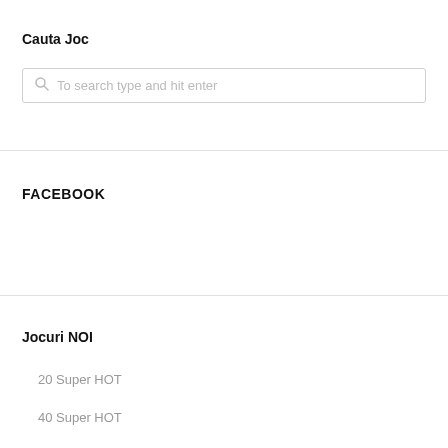Cauta Joc
[Figure (screenshot): Search input box with magnifying glass icon and placeholder text 'To search type and hit enter']
FACEBOOK
Jocuri NOI
20 Super HOT
40 Super HOT